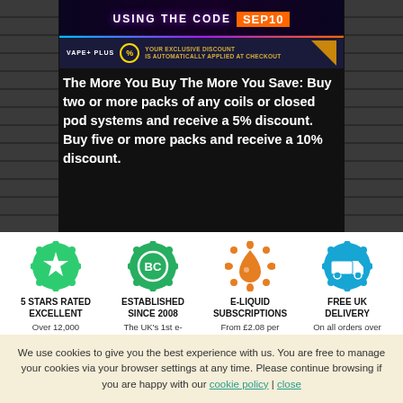[Figure (screenshot): Promotional banner showing discount code 'SEP10' with neon lighting effects and 'VAPE PLUS' branding with 'YOUR EXCLUSIVE DISCOUNT IS AUTOMATICALLY APPLIED AT CHECKOUT']
The More You Buy The More You Save: Buy two or more packs of any coils or closed pod systems and receive a 5% discount. Buy five or more packs and receive a 10% discount.
[Figure (infographic): Four feature icons row: 5 Stars Rated Excellent (green star splash), Established Since 2008 (green badge), E-Liquid Subscriptions (orange droplet), Free UK Delivery (blue delivery truck)]
5 STARS RATED EXCELLENT
Over 12,000 TrustPilot reviews
ESTABLISHED SINCE 2008
The UK's 1st e-cigarette Company
E-LIQUID SUBSCRIPTIONS
From £2.08 per bottle!
FREE UK DELIVERY
On all orders over £15
Leave a message
We use cookies to give you the best experience with us. You are free to manage your cookies via your browser settings at any time. Please continue browsing if you are happy with our cookie policy | close